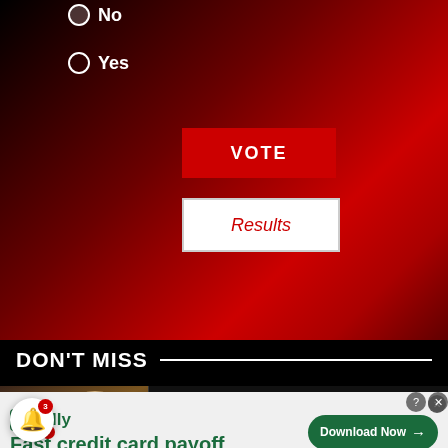No
Yes
VOTE
Results
DON'T MISS
Celebrity News
[Figure (photo): Two people smiling, celebrity couple photo, with infolinks badge and play button overlay]
Fast credit card payoff
Download Now